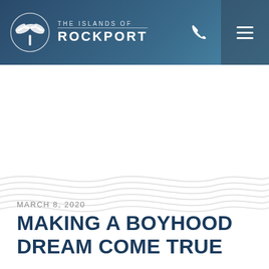THE ISLANDS OF ROCKPORT
[Figure (illustration): Wave pattern decoration — multiple parallel wavy lines in light gray]
MARCH 8, 2020
MAKING A BOYHOOD DREAM COME TRUE